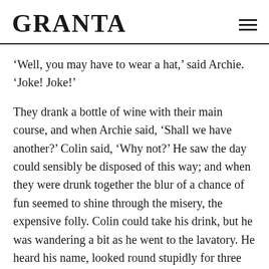GRANTA
‘Well, you may have to wear a hat,’ said Archie. ‘Joke! Joke!’
They drank a bottle of wine with their main course, and when Archie said, ‘Shall we have another?’ Colin said, ‘Why not?’ He saw the day could sensibly be disposed of this way; and when they were drunk together the blur of a chance of fun seemed to shine through the misery, the expensive folly. Colin could take his drink, but he was wandering a bit as he went to the lavatory. He heard his name, looked round stupidly for three seconds, and there at a corner table were the Gortons.
‘We didn’t like to interrupt,’ said George suavely.
‘He looks rather super,’ said Emma. ‘Good for you!’